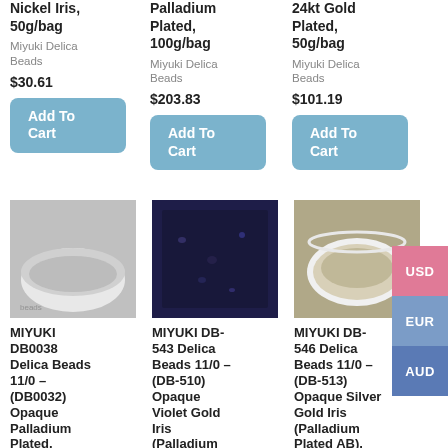Nickel Iris, 50g/bag
Miyuki Delica Beads
$30.61
Add To Cart
Palladium Plated, 100g/bag
Miyuki Delica Beads
$203.83
Add To Cart
24kt Gold Plated, 50g/bag
Miyuki Delica Beads
$101.19
Add To Cart
[Figure (photo): Miyuki Delica beads in a white bowl, silver/gray color]
[Figure (photo): Miyuki Delica beads close-up, dark blue/black color]
[Figure (photo): Miyuki Delica beads in a white bowl, gold/silver iris color]
MIYUKI DB0038 Delica Beads 11/0 – (DB0032) Opaque Palladium Plated,
MIYUKI DB-543 Delica Beads 11/0 – (DB-510) Opaque Violet Gold Iris (Palladium
MIYUKI DB-546 Delica Beads 11/0 – (DB-513) Opaque Silver Gold Iris (Palladium Plated AB),
USD
EUR
AUD